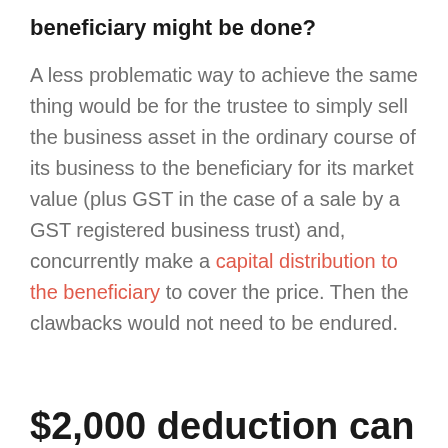beneficiary might be done?
A less problematic way to achieve the same thing would be for the trustee to simply sell the business asset in the ordinary course of its business to the beneficiary for its market value (plus GST in the case of a sale by a GST registered business trust) and, concurrently make a capital distribution to the beneficiary to cover the price. Then the clawbacks would not need to be endured.
$2,000 deduction can